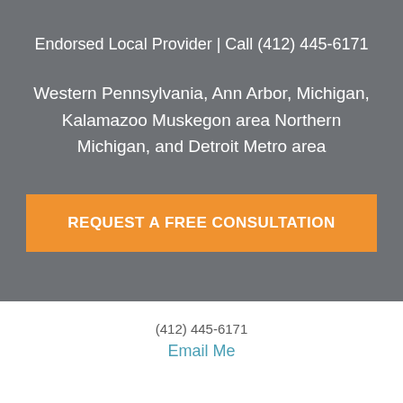Endorsed Local Provider | Call (412) 445-6171
Western Pennsylvania, Ann Arbor, Michigan, Kalamazoo Muskegon area Northern Michigan, and Detroit Metro area
REQUEST A FREE CONSULTATION
(412) 445-6171
Email Me